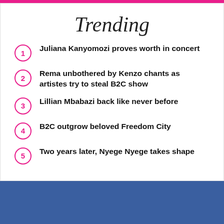Trending
Juliana Kanyomozi proves worth in concert
Rema unbothered by Kenzo chants as artistes try to steal B2C show
Lillian Mbabazi back like never before
B2C outgrow beloved Freedom City
Two years later, Nyege Nyege takes shape
[Figure (screenshot): Blue Facebook Messenger chat bubble icon on dark blue background in bottom-right corner]